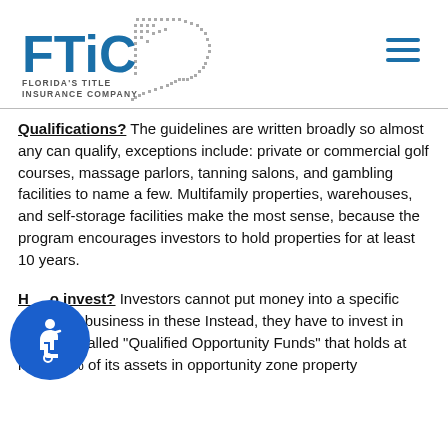Florida's Title Insurance Company logo and navigation
Qualifications? The guidelines are written broadly so almost any can qualify, exceptions include: private or commercial golf courses, massage parlors, tanning salons, and gambling facilities to name a few. Multifamily properties, warehouses, and self-storage facilities make the most sense, because the program encourages investors to hold properties for at least 10 years.
How to invest? Investors cannot put money into a specific project or business in these Instead, they have to invest in what are called "Qualified Opportunity Funds" that holds at least 90% of its assets in opportunity zone property